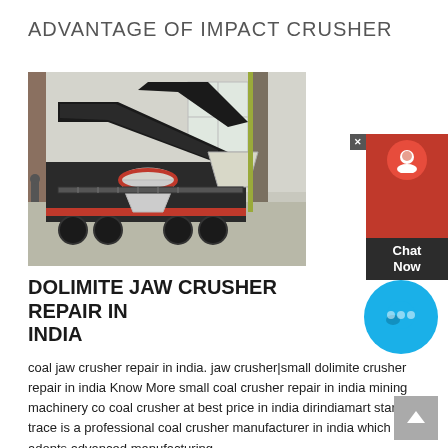ADVANTAGE OF IMPACT CRUSHER
[Figure (photo): Aerial/overhead view of a large industrial mobile jaw crusher machine on a wheeled chassis inside a warehouse or factory building. The machine is dark grey/black with red accents, featuring conveyor belts and a cone crusher unit.]
DOLIMITE JAW CRUSHER REPAIR IN INDIA
coal jaw crusher repair in india. jaw crusher|small dolimite crusher repair in india Know More small coal crusher repair in india mining machinery co coal crusher at best price in india dirindiamart star trace is a professional coal crusher manufacturer in india which adopts advanced manufacturing